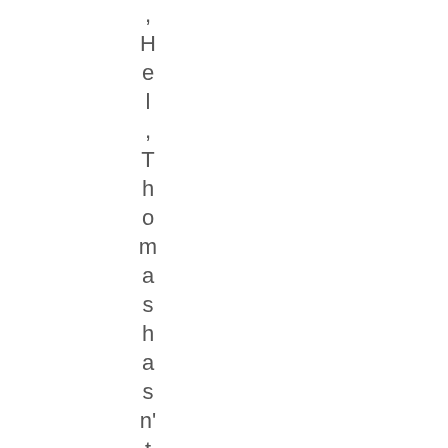, Hel, Thomashasn't doneJACKsinc